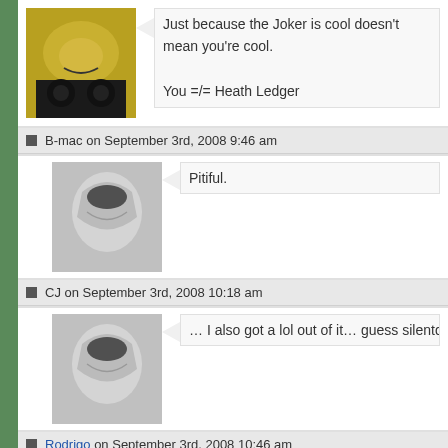Just because the Joker is cool doesn't mean you're cool.

You =/= Heath Ledger
B-mac on September 3rd, 2008 9:46 am
Pitiful.
CJ on September 3rd, 2008 10:18 am
… I also got a lol out of it… guess silentdre and I are the on
Rodrigo on September 3rd, 2008 10:46 am
A bunch of Dark Knight-based Halolz incoming…

for the next three months, at least.
Bass-Net on September 3rd, 2008 10:58 am